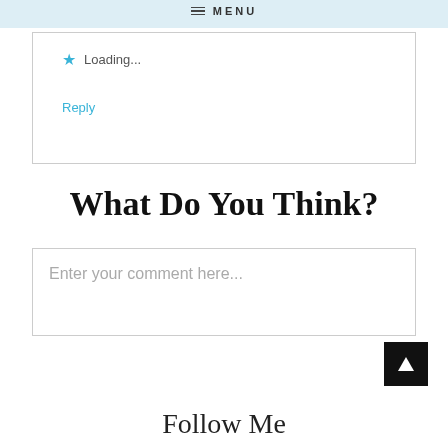≡ MENU
★ Loading...
Reply
What Do You Think?
Enter your comment here...
[Figure (other): Scroll-to-top button: black square with white upward triangle arrow]
Follow Me